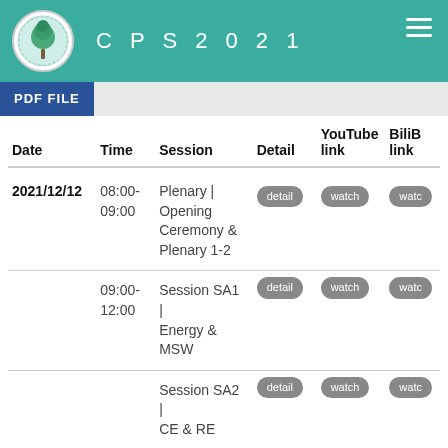CPS2021
PDF FILE
| Date | Time | Session | Detail | YouTube link | BiliB link |
| --- | --- | --- | --- | --- | --- |
| 2021/12/12 | 08:00-09:00 | Plenary | Opening Ceremony & Plenary 1-2 | detail | watch | watc |
|  | 09:00-12:00 | Session SA1 | Energy & MSW | detail | watch | watc |
|  |  | Session SA2 | CE & RE | detail | watch | watc |
|  |  | Session SA3 | B&R | detail | watch | watc |